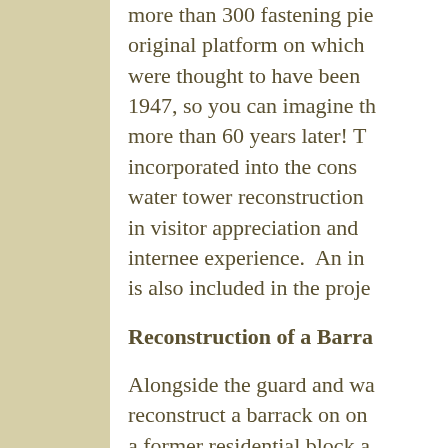more than 300 fastening pie original platform on which were thought to have been 1947, so you can imagine th more than 60 years later! T incorporated into the cons water tower reconstruction in visitor appreciation and internee experience.  An in is also included in the proje
Reconstruction of a Barra
Alongside the guard and wa reconstruct a barrack on on a former residential block a be located near the soon to